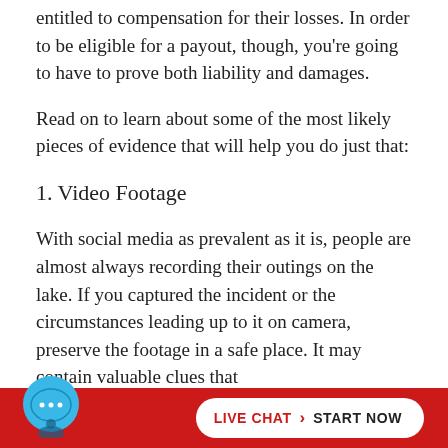entitled to compensation for their losses. In order to be eligible for a payout, though, you’re going to have to prove both liability and damages.
Read on to learn about some of the most likely pieces of evidence that will help you do just that:
1. Video Footage
With social media as prevalent as it is, people are almost always recording their outings on the lake. If you captured the incident or the circumstances leading up to it on camera, preserve the footage in a safe place. It may contain valuable clues that
LIVE CHAT › START NOW